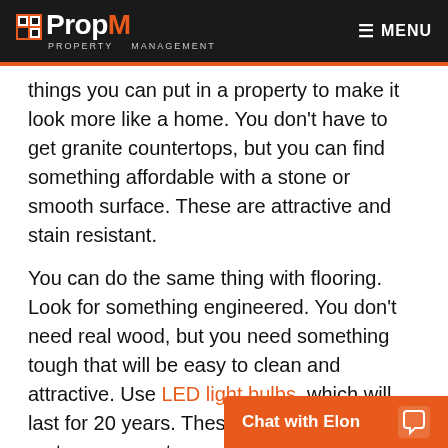PropM Property Management | MENU
things you can put in a property to make it look more like a home. You don't have to get granite countertops, but you can find something affordable with a stone or smooth surface. These are attractive and stain resistant.
You can do the same thing with flooring. Look for something engineered. You don't need real wood, but you need something tough that will be easy to clean and attractive. Use LED light bulbs, which will last for 20 years. These things will save you on turnover costs.
Longer Tenanc
[Figure (other): Chat with Elon widget button in orange at bottom right]